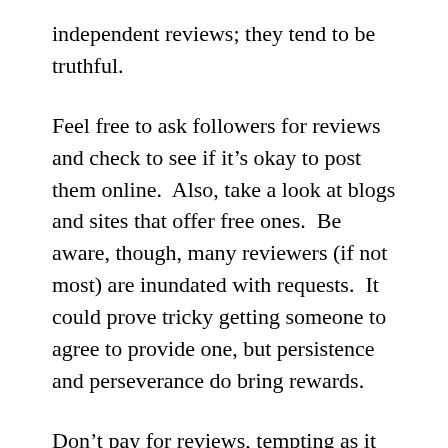independent reviews; they tend to be truthful.
Feel free to ask followers for reviews and check to see if it's okay to post them online.  Also, take a look at blogs and sites that offer free ones.  Be aware, though, many reviewers (if not most) are inundated with requests.  It could prove tricky getting someone to agree to provide one, but persistence and perseverance do bring rewards.
Don't pay for reviews, tempting as it may be (in earlier days, when none the wiser, I certainly considered it).  Many would view this as unethical . . . and really . . . how much faith could you put into something you shelled out